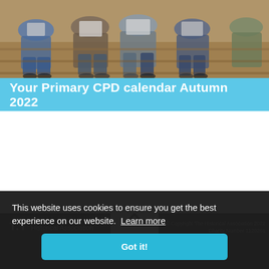[Figure (photo): Students sitting on steps looking at tablets/devices, viewed from above, warm tones]
Your Primary CPD calendar Autumn 2022
[Figure (logo): T.T Historical Association logo in white on dark background]
© Copyright The Historical Association 2022 Charity Number 1120261
This website uses cookies to ensure you get the best experience on our website. Learn more
Got it!